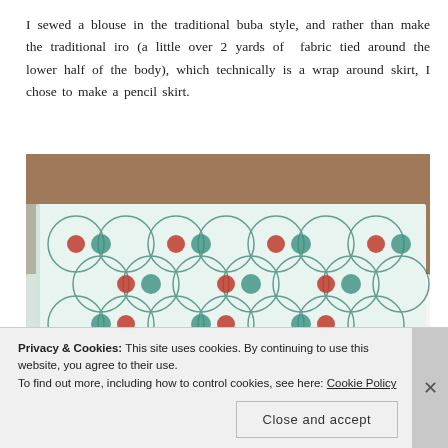I sewed a blouse in the traditional buba style, and rather than make the traditional iro (a little over 2 yards of fabric tied around the lower half of the body), which technically is a wrap around skirt, I chose to make a pencil skirt.
[Figure (photo): Close-up photograph of two pieces of folded fabric stacked on a wooden surface. The top fabric features a teal/white pattern with overlapping circles and dark green and red floral motifs, with a dark green border labeled 'So Chic de Woodin'. The bottom fabric shows a white background with dark red/maroon botanical and floral designs with purple accents.]
Privacy & Cookies: This site uses cookies. By continuing to use this website, you agree to their use.
To find out more, including how to control cookies, see here: Cookie Policy